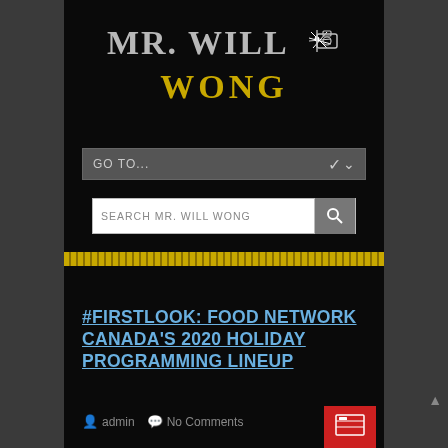[Figure (logo): Mr. Will Wong website logo — 'MR. WILL' in silver serif font with a starburst icon, 'WONG' in gold serif font below]
[Figure (screenshot): GO TO... dropdown navigation bar with chevron arrow on right]
[Figure (screenshot): Search bar reading 'SEARCH MR. WILL WONG' with magnifying glass button]
[Figure (other): Gold horizontal stripe separator bar]
#FIRSTLOOK: FOOD NETWORK CANADA'S 2020 HOLIDAY PROGRAMMING LINEUP
admin   No Comments